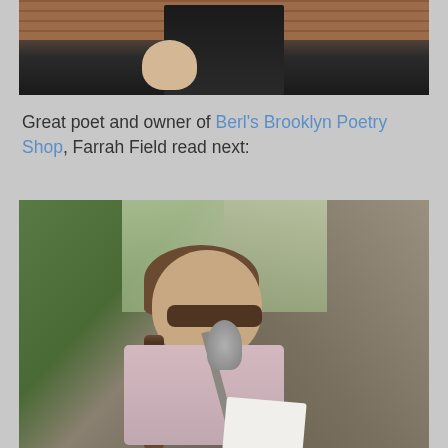[Figure (photo): Partial view of a person against a brick wall background, cropped at top of page]
Great poet and owner of Berl's Brooklyn Poetry Shop, Farrah Field read next:
[Figure (photo): Woman with brown hair and sunglasses reading from papers at a microphone outdoors, with trees in the background]